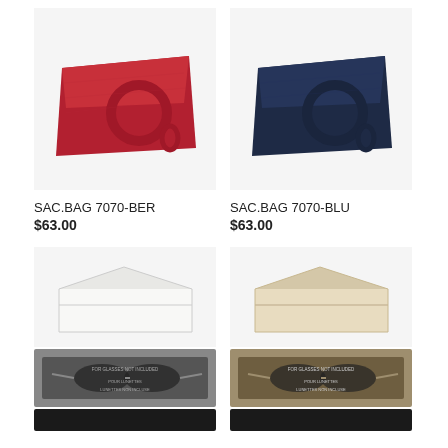[Figure (photo): Red leather clutch bag with circular ring handle, textured leather surface, on white background]
[Figure (photo): Navy blue leather clutch bag with circular ring handle, textured leather surface, on white background]
SAC.BAG 7070-BER
$63.00
SAC.BAG 7070-BLU
$63.00
[Figure (photo): White leather eyeglass/sunglasses case, triangular profile, closed]
[Figure (photo): Beige/cream leather eyeglass/sunglasses case, triangular profile, closed]
[Figure (photo): White eyeglass case open showing sunglasses inside, text reads FOR GLASSES NOT INCLUDED / POUR LUNETTES / LUNETTES NON INCLUSE]
[Figure (photo): Beige eyeglass case open showing sunglasses inside, text reads FOR GLASSES NOT INCLUDED / POUR LUNETTES / LUNETTES NON INCLUSE]
[Figure (photo): White eyeglass case closed, dark/black]
[Figure (photo): Beige eyeglass case closed, dark/black]